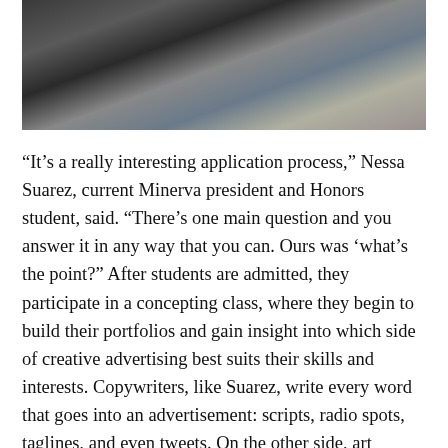[Figure (photo): Photograph of students at a table, working or conversing in what appears to be a classroom or workshop setting.]
“It’s a really interesting application process,” Nessa Suarez, current Minerva president and Honors student, said. “There’s one main question and you answer it in any way that you can. Ours was ‘what’s the point?” After students are admitted, they participate in a concepting class, where they begin to build their portfolios and gain insight into which side of creative advertising best suits their skills and interests. Copywriters, like Suarez, write every word that goes into an advertisement: scripts, radio spots, taglines, and even tweets. On the other side, art directors, such as Honors student Emeline Earman, execute campaigns and create visuals for commercials, print ads, and other various media. While both help conceptualize what the ad will become, each plays a different, but